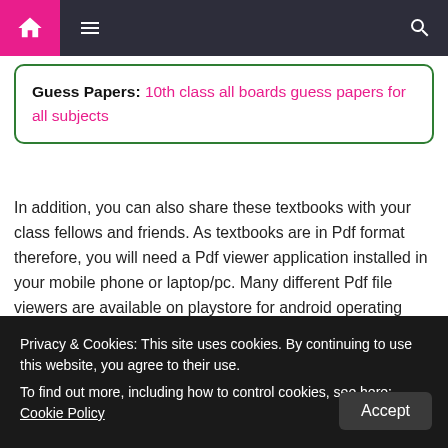[Figure (screenshot): Navigation bar with home icon (pink background), hamburger menu icon, and search icon on dark background]
Guess Papers: 10th class all boards guess papers for all subjects
In addition, you can also share these textbooks with your class fellows and friends. As textbooks are in Pdf format therefore, you will need a Pdf viewer application installed in your mobile phone or laptop/pc. Many different Pdf file viewers are available on playstore for android operating systems and also on App Store for iOS. Download free any P...
Privacy & Cookies: This site uses cookies. By continuing to use this website, you agree to their use.
To find out more, including how to control cookies, see here:
Cookie Policy